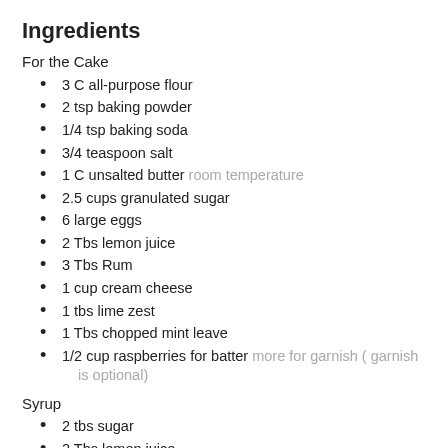Ingredients
For the Cake
3 C all-purpose flour
2 tsp baking powder
1/4 tsp baking soda
3/4 teaspoon salt
1 C unsalted butter room temperature
2.5 cups granulated sugar
6 large eggs
2 Tbs lemon juice
3 Tbs Rum
1 cup cream cheese
1 tbs lime zest
1 Tbs chopped mint leave
1/2 cup raspberries for batter more for garnish ( garnish is optional)
Syrup
2 tbs sugar
2 Tbs lemon juice